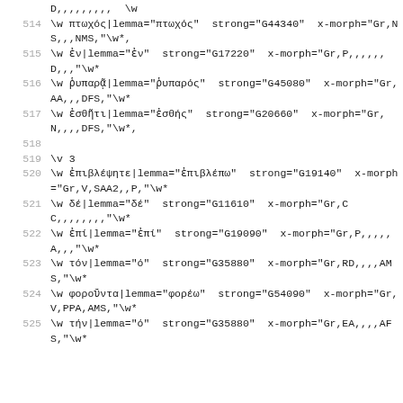D,,,,,,,,, \w
514  \w πτωχός|lemma="πτωχός" strong="G44340" x-morph="Gr,NS,,,NMS,"\w*,
515  \w ἐν|lemma="ἐν" strong="G17220" x-morph="Gr,P,,,,,D,,,"\w*
516  \w ῥυπαρᾷ|lemma="ῥυπαρός" strong="G45080" x-morph="Gr,AA,,,DFS,"\w*
517  \w ἐσθῆτι|lemma="ἐσθής" strong="G20660" x-morph="Gr,N,,,,DFS,"\w*,
518
519  \v 3
520  \w ἐπιβλέψητε|lemma="ἐπιβλέπω" strong="G19140" x-morph="Gr,V,SAA2,,P,"\w*
521  \w δέ|lemma="δέ" strong="G11610" x-morph="Gr,CC,,,,,,,,"\w*
522  \w ἐπί|lemma="ἐπί" strong="G19090" x-morph="Gr,P,,,,,A,,,"\w*
523  \w τόν|lemma="ό" strong="G35880" x-morph="Gr,RD,,,,AMS,"\w*
524  \w φοροῦντα|lemma="φορέω" strong="G54090" x-morph="Gr,V,PPA,AMS,"\w*
525  \w τήν|lemma="ό" strong="G35880" x-morph="Gr,EA,,,,AFS,"\w*